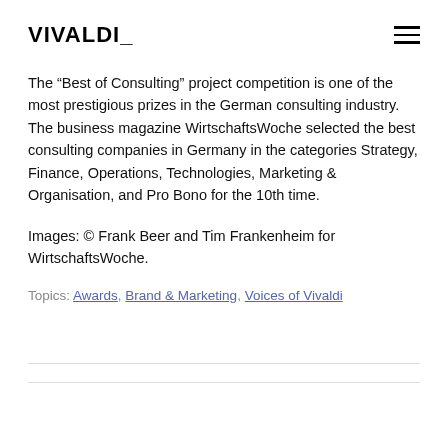VIVALDI_
The “Best of Consulting” project competition is one of the most prestigious prizes in the German consulting industry. The business magazine WirtschaftsWoche selected the best consulting companies in Germany in the categories Strategy, Finance, Operations, Technologies, Marketing & Organisation, and Pro Bono for the 10th time.
Images: © Frank Beer and Tim Frankenheim for WirtschaftsWoche.
Topics: Awards, Brand & Marketing, Voices of Vivaldi